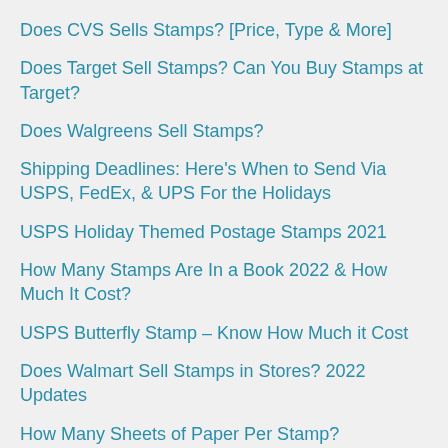Does CVS Sells Stamps? [Price, Type & More]
Does Target Sell Stamps? Can You Buy Stamps at Target?
Does Walgreens Sell Stamps?
Shipping Deadlines: Here's When to Send Via USPS, FedEx, & UPS For the Holidays
USPS Holiday Themed Postage Stamps 2021
How Many Stamps Are In a Book 2022 & How Much It Cost?
USPS Butterfly Stamp – Know How Much it Cost
Does Walmart Sell Stamps in Stores? 2022 Updates
How Many Sheets of Paper Per Stamp?